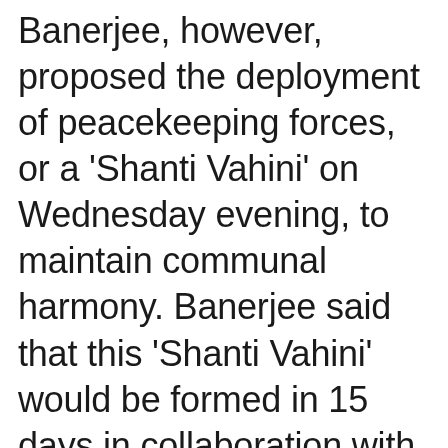Banerjee, however, proposed the deployment of peacekeeping forces, or a 'Shanti Vahini' on Wednesday evening, to maintain communal harmony. Banerjee said that this 'Shanti Vahini' would be formed in 15 days in collaboration with youth and peaceful citizens and the local police stations.